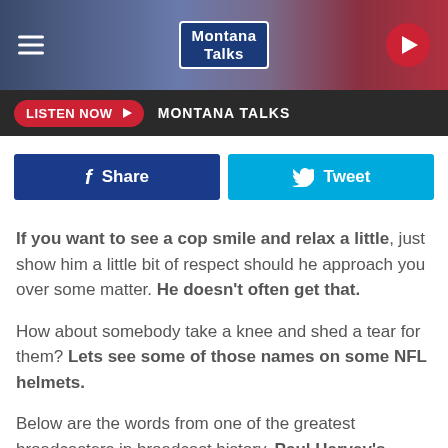[Figure (logo): Montana Talks radio station logo and header with hamburger menu, logo, and play button]
LISTEN NOW  MONTANA TALKS
[Figure (infographic): Facebook Share button and Twitter Tweet button row]
If you want to see a cop smile and relax a little, just show him a little bit of respect should he approach you over some matter. He doesn't often get that.
How about somebody take a knee and shed a tear for them? Lets see some of those names on some NFL helmets.
Below are the words from one of the greatest broadcasters in broadcast history. Paul Harvey's tribute to the policeman.